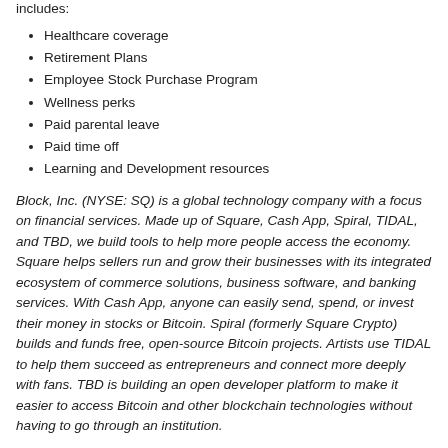includes:
Healthcare coverage
Retirement Plans
Employee Stock Purchase Program
Wellness perks
Paid parental leave
Paid time off
Learning and Development resources
Block, Inc. (NYSE: SQ) is a global technology company with a focus on financial services. Made up of Square, Cash App, Spiral, TIDAL, and TBD, we build tools to help more people access the economy. Square helps sellers run and grow their businesses with its integrated ecosystem of commerce solutions, business software, and banking services. With Cash App, anyone can easily send, spend, or invest their money in stocks or Bitcoin. Spiral (formerly Square Crypto) builds and funds free, open-source Bitcoin projects. Artists use TIDAL to help them succeed as entrepreneurs and connect more deeply with fans. TBD is building an open developer platform to make it easier to access Bitcoin and other blockchain technologies without having to go through an institution.